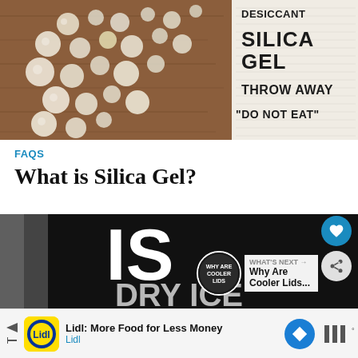[Figure (photo): Photo of silica gel beads on a wooden surface next to a packet labeled DESICCANT SILICA GEL THROW AWAY DO NOT EAT]
FAQS
What is Silica Gel?
[Figure (screenshot): Video thumbnail showing large white text 'IS' and partial text 'DRY ICE' on dark background, with WHAT'S NEXT overlay showing 'Why Are Cooler Lids...' and UI buttons for heart/share]
[Figure (photo): Advertisement bar: Lidl: More Food for Less Money - Lidl, with navigation arrow icon and Turner logo]